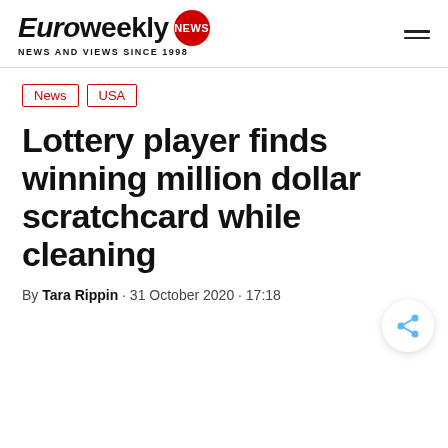Euroweekly NEWS — NEWS AND VIEWS SINCE 1998
News
USA
Lottery player finds winning million dollar scratchcard while cleaning
By Tara Rippin · 31 October 2020 · 17:18